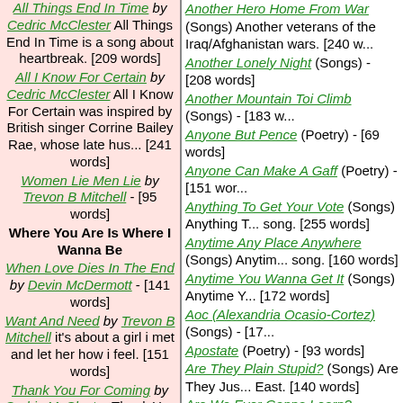All Things End In Time by Cedric McClester All Things End In Time is a song about heartbreak. [209 words]
All I Know For Certain by Cedric McClester All I Know For Certain was inspired by British singer Corrine Bailey Rae, whose late hus... [241 words]
Women Lie Men Lie by Trevon B Mitchell - [95 words]
Where You Are Is Where I Wanna Be
When Love Dies In The End by Devin McDermott - [141 words]
Want And Need by Trevon B Mitchell it's about a girl i met and let her how i feel. [151 words]
Thank You For Coming by Cedric McClester Thank You For Coming was inspired by a New York Times article on
Another Hero Home From War (Songs) Another veterans of the Iraq/Afghanistan wars. [240 w...
Another Lonely Night (Songs) - [208 words]
Another Mountain Toi Climb (Songs) - [183 w...
Anyone But Pence (Poetry) - [69 words]
Anyone Can Make A Gaff (Poetry) - [151 wor...
Anything To Get Your Vote (Songs) Anything T... song. [255 words]
Anytime Any Place Anywhere (Songs) Anytim... song. [160 words]
Anytime You Wanna Get It (Songs) Anytime Y... [172 words]
Aoc (Alexandria Ocasio-Cortez) (Songs) - [17...
Apostate (Poetry) - [93 words]
Are They Plain Stupid? (Songs) Are They Jus... East. [140 words]
Are We Ever Gonna Learn? (Songs) Are We L... song that focuses on the so-called war on terr...
Are You Asking Me? (Poetry) - [149 words]
Are You Aware? (Songs) - [110 words]
Are You Gonna Miss Me? (Songs) - [211 wor...
Are You Listening To Me? (Songs) Are You Lis... Bob Dylan. [258 words]
Are You Still Mine? (Songs) This song was wr... comeback in mind. It should have an updated...
Are You Woke? (Songs) - [101 words]
As A General Rule (Songs) - [211 words]